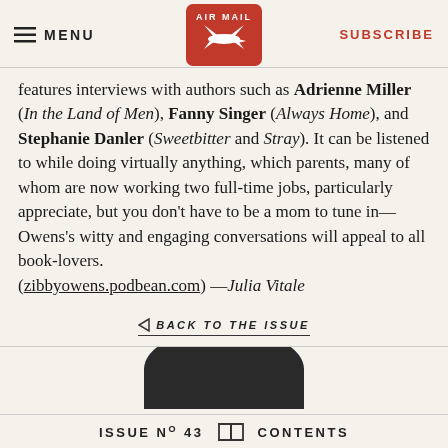MENU | AIR MAIL | SUBSCRIBE
features interviews with authors such as Adrienne Miller (In the Land of Men), Fanny Singer (Always Home), and Stephanie Danler (Sweetbitter and Stray). It can be listened to while doing virtually anything, which parents, many of whom are now working two full-time jobs, particularly appreciate, but you don't have to be a mom to tune in—Owens's witty and engaging conversations will appeal to all book-lovers. (zibbyowens.podbean.com) —Julia Vitale
BACK TO THE ISSUE
[Figure (photo): Partial view of a round dark object (top of a head or circular object) visible at bottom center of the page]
ISSUE No 43  CONTENTS